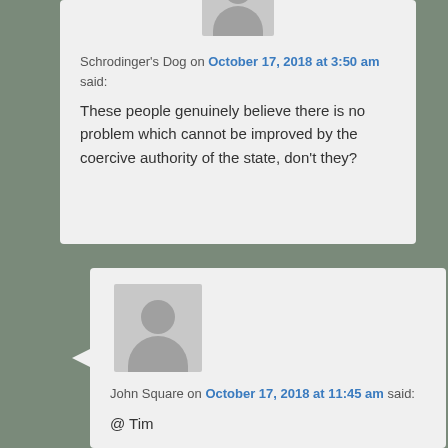Schrodinger's Dog on October 17, 2018 at 3:50 am said:
These people genuinely believe there is no problem which cannot be improved by the coercive authority of the state, don't they?
[Figure (illustration): Generic user avatar placeholder showing silhouette of person]
John Square on October 17, 2018 at 11:45 am said:
@ Tim

“Imagine how short, bald men have felt for decades.”